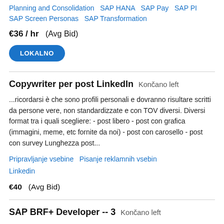Planning and Consolidation   SAP HANA   SAP Pay   SAP PI   SAP Screen Personas   SAP Transformation
€36 / hr   (Avg Bid)
LOKALNO
Copywriter per post LinkedIn   Končano left
...ricordarsi è che sono profili personali e dovranno risultare scritti da persone vere, non standardizzate e con TOV diversi. Diversi format tra i quali scegliere: - post libero - post con grafica (immagini, meme, etc fornite da noi) - post con carosello - post con survey Lunghezza post...
Pripravljanje vsebine   Pisanje reklamnih vsebin   Linkedin
€40   (Avg Bid)
SAP BRF+ Developer -- 3   Končano left